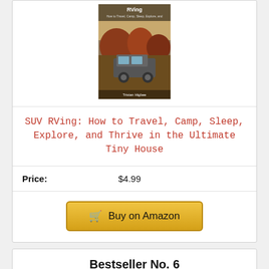[Figure (photo): Book cover for 'SUV RVing: How to Travel, Camp, Sleep, Explore, and Thrive in the Ultimate Tiny House' showing an SUV on a desert/canyon landscape]
SUV RVing: How to Travel, Camp, Sleep, Explore, and Thrive in the Ultimate Tiny House
Price: $4.99
Buy on Amazon
Bestseller No. 6
[Figure (photo): A tent attached to the back of a pickup truck]